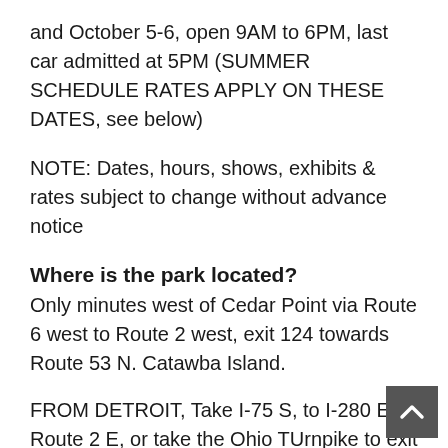and October 5-6, open 9AM to 6PM, last car admitted at 5PM (SUMMER SCHEDULE RATES APPLY ON THESE DATES, see below)
NOTE: Dates, hours, shows, exhibits & rates subject to change without advance notice
Where is the park located?
Only minutes west of Cedar Point via Route 6 west to Route 2 west, exit 124 towards Route 53 N. Catawba Island.
FROM DETROIT, Take I-75 S, to I-280 E, to Route 2 E, or take the Ohio TUrnpike to exit 91 towards Port Clinton, exit 124 (53 N Catawba Island) & follow signs...